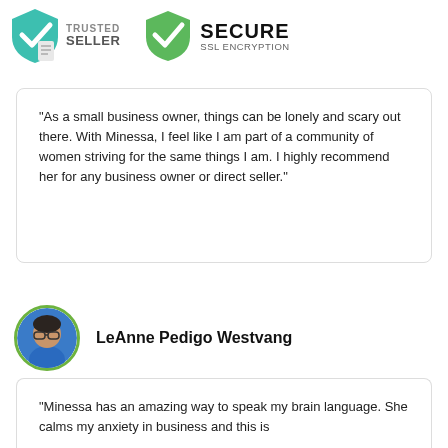[Figure (logo): Trusted Seller badge with teal shield and checkmark icon, document icon overlay, and bold text 'TRUSTED SELLER']
[Figure (logo): Secure SSL Encryption badge with green shield and checkmark icon, bold text 'SECURE' and 'SSL ENCRYPTION']
“As a small business owner, things can be lonely and scary out there. With Minessa, I feel like I am part of a community of women striving for the same things I am. I highly recommend her for any business owner or direct seller.”
[Figure (photo): Circular profile photo of LeAnne Pedigo Westvang with green border, woman wearing glasses and blue top]
LeAnne Pedigo Westvang
“Minessa has an amazing way to speak my brain language. She calms my anxiety in business and this is